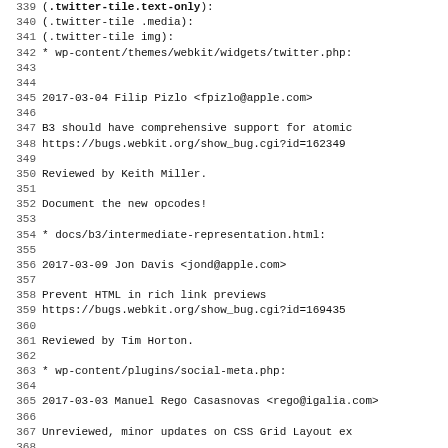Source code changelog / diff view, lines 339-371
339: (.twitter-tile.text-only):
340: (.twitter-tile .media):
341: (.twitter-tile img):
342: * wp-content/themes/webkit/widgets/twitter.php:
343: (blank)
344: (blank)
345: 2017-03-04  Filip Pizlo  <fpizlo@apple.com>
346: (blank)
347:         B3 should have comprehensive support for atomic
348:         https://bugs.webkit.org/show_bug.cgi?id=162349
349: (blank)
350:         Reviewed by Keith Miller.
351: (blank)
352:         Document the new opcodes!
353: (blank)
354:         * docs/b3/intermediate-representation.html:
355: (blank)
356: 2017-03-09  Jon Davis  <jond@apple.com>
357: (blank)
358:         Prevent HTML in rich link previews
359:         https://bugs.webkit.org/show_bug.cgi?id=169435
360: (blank)
361:         Reviewed by Tim Horton.
362: (blank)
363:         * wp-content/plugins/social-meta.php:
364: (blank)
365: 2017-03-03  Manuel Rego Casasnovas  <rego@igalia.com>
366: (blank)
367:         Unreviewed, minor updates on CSS Grid Layout ex
368: (blank)
369:         * demos/css-grid/index.html:
370:         * demos/css-grid/responsive-grid.html:
371: (blank)